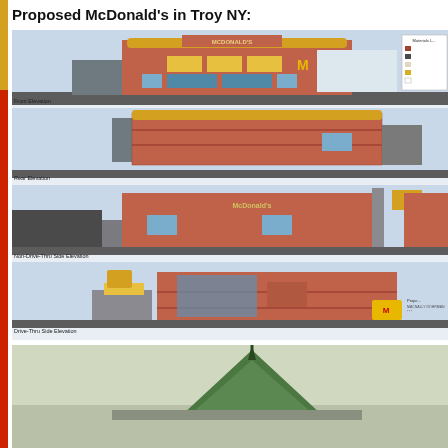Proposed McDonald's in Troy NY:
[Figure (engineering-diagram): Architectural elevation drawings of a proposed McDonald's restaurant in Troy NY, showing four views: Front Elevation, Rear Elevation, Non-Drive-Thru Side Elevation, and Drive-Thru Side Elevation. Each shows a modern McDonald's building with red/brown exterior panels and golden accents. A legend with material callouts appears in the upper right corner.]
[Figure (photo): Partial photograph at the bottom of the page showing a green pointed roof structure, likely an existing building at the proposed site location.]